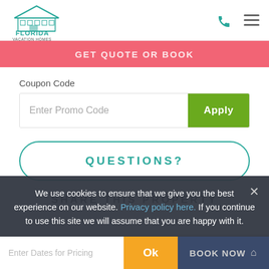[Figure (logo): Florida Vacation Homes logo with house graphic and teal/green text]
Coupon Code
Enter Promo Code
Apply
QUESTIONS?
SHARE THIS PROPERTY
We use cookies to ensure that we give you the best experience on our website. Privacy policy here. If you continue to use this site we will assume that you are happy with it.
Ok
Enter Dates for Pricing
BOOK NOW